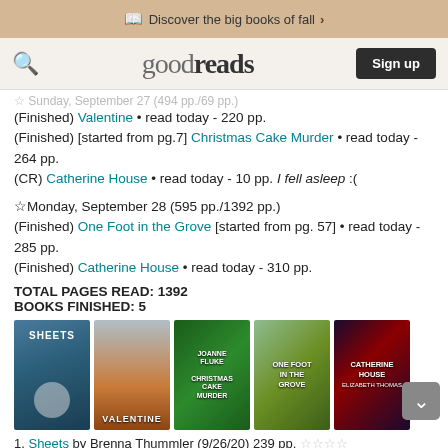Discover the big books of fall >
goodreads | Sign up
☆ Sunday, September 27 (494 pp./69 pp.) (Finished) Valentine • read today - 220 pp. (Finished) [started from pg.7] Christmas Cake Murder • read today - 264 pp. (CR) Catherine House • read today - 10 pp. I fell asleep :(
☆ Monday, September 28 (595 pp./1392 pp.) (Finished) One Foot in the Grove [started from pg. 57] • read today - 285 pp. (Finished) Catherine House • read today - 310 pp.
TOTAL PAGES READ: 1392
BOOKS FINISHED: 5
[Figure (photo): Five book cover thumbnails: Sheets, Valentine, Christmas Cake Murder, One Foot in the Grove, Catherine House]
1. Sheets by Brenna Thummler (9/26/20) 239 pp. ☆☆☆☆
2. Valentine by Elizabeth Wetmore (9/27/20) 320 pp.